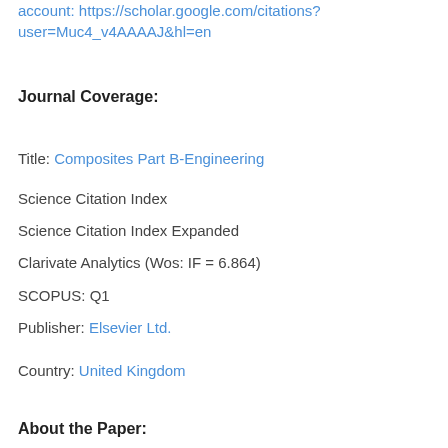account: https://scholar.google.com/citations?user=Muc4_v4AAAAJ&hl=en
Journal Coverage:
Title: Composites Part B-Engineering
Science Citation Index
Science Citation Index Expanded
Clarivate Analytics (Wos: IF = 6.864)
SCOPUS: Q1
Publisher: Elsevier Ltd.
Country: United Kingdom
About the Paper: